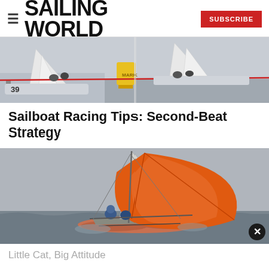SAILING WORLD  SUBSCRIBE
[Figure (photo): Sailboat racing photo showing multiple boats near a yellow mark buoy, boat number 39 visible]
Sailboat Racing Tips: Second-Beat Strategy
[Figure (photo): Catamaran with large orange spinnaker sail racing on open water, crew hiking out]
Little Cat, Big Attitude